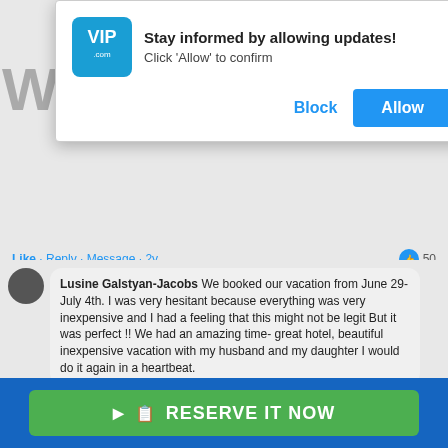[Figure (screenshot): VIP.com browser notification popup asking user to allow updates. Shows VIP.com logo, text 'Stay informed by allowing updates!' and 'Click Allow to confirm', with Block and Allow buttons.]
Like · Reply · Message · 2y  👍 50
Lusine Galstyan-Jacobs We booked our vacation from June 29-July 4th. I was very hesitant because everything was very inexpensive and I had a feeling that this might not be legit But it was perfect !! We had an amazing time- great hotel, beautiful inexpensive vacation with my husband and my daughter I would do it again in a heartbeat.
Like · Reply · Message · 32w  👍 7
Jim Usher Stayed at Ocean Coral and Turquesa resort. Excellent food, drinks ,service. Booked through Bookvip. Was a great choice. Alwsys go through them now.
Like · Reply · Message · 1y  👍 1
Elder Carlita Singletary I used them before. Really good 👍🏾
[Figure (screenshot): Green RESERVE IT NOW button at the bottom of the page on a blue background bar]